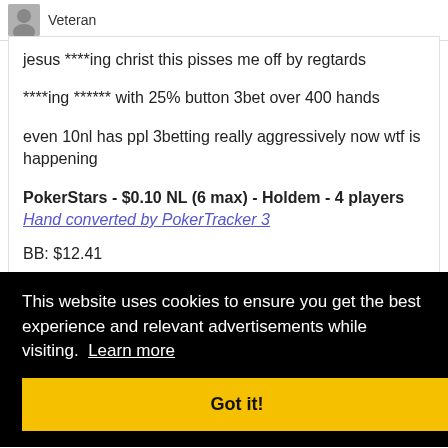Veteran
jesus ****ing christ this pisses me off by regtards
****ing ****** with 25% button 3bet over 400 hands
even 10nl has ppl 3betting really aggressively now wtf is happening
PokerStars - $0.10 NL (6 max) - Holdem - 4 players
Hand converted by PokerTracker 3
BB: $12.41
This website uses cookies to ensure you get the best experience and relevant advertisements while visiting.  Learn more
Got it!
ero
Flop: ($1.05, 3 players) 7♥ 3♦♦ A♠